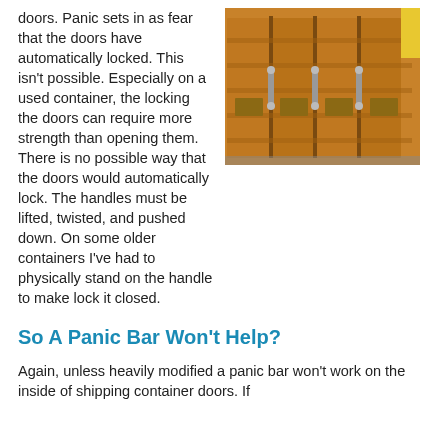doors. Panic sets in as fear that the doors have automatically locked. This isn't possible. Especially on a used container, the locking the doors can require more strength than opening them. There is no possible way that the doors would automatically lock. The handles must be lifted, twisted, and pushed down. On some older containers I've had to physically stand on the handle to make lock it closed.
[Figure (photo): Photo of orange shipping container doors with metal locking handles and latches]
So A Panic Bar Won't Help?
Again, unless heavily modified a panic bar won't work on the inside of shipping container doors. If